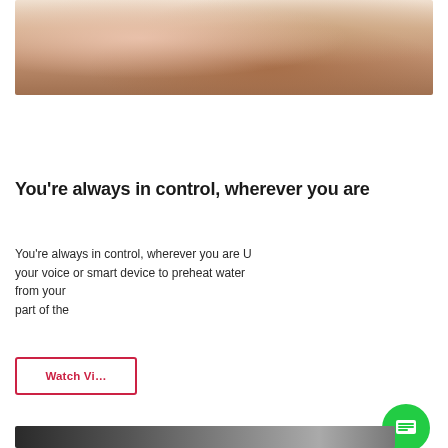[Figure (photo): Hands holding a smart device, person wearing gold bracelet, partial view of another person with curly hair in background]
You're always in control, wherever you are
You're always in control, wherever you are Use your voice or smart device to preheat water from your part of the
[Figure (screenshot): Chat popup widget with close button at top right, avatar of woman, text: Hi there, have a question? Text us here. Green chat icon at bottom right.]
[Figure (photo): Strip of thumbnail photos at the bottom of the page]